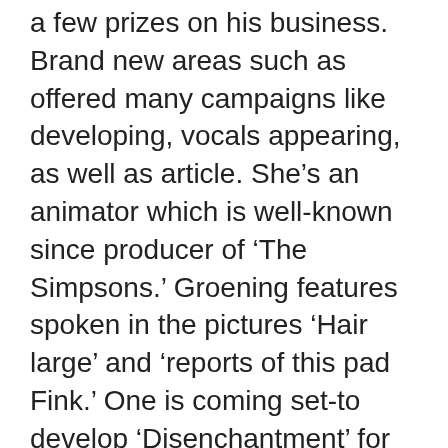a few prizes on his business. Brand new areas such as offered many campaigns like developing, vocals appearing, as well as article. She’s an animator which is well-known since producer of ‘The Simpsons.’ Groening features spoken in the pictures ‘Hair large’ and ‘reports of this pad Fink.’ One is coming set-to develop ‘Disenchantment’ for Netflix.
Maybe you are aware of about Matt Groening potentially But do you have the skills aged and big will be he or she, as well as just what is its website valued at in 2022? If you can’t